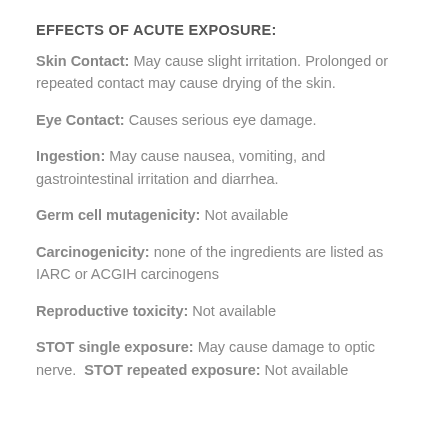EFFECTS OF ACUTE EXPOSURE:
Skin Contact: May cause slight irritation. Prolonged or repeated contact may cause drying of the skin.
Eye Contact: Causes serious eye damage.
Ingestion: May cause nausea, vomiting, and gastrointestinal irritation and diarrhea.
Germ cell mutagenicity: Not available
Carcinogenicity: none of the ingredients are listed as IARC or ACGIH carcinogens
Reproductive toxicity: Not available
STOT single exposure: May cause damage to optic nerve.  STOT repeated exposure: Not available